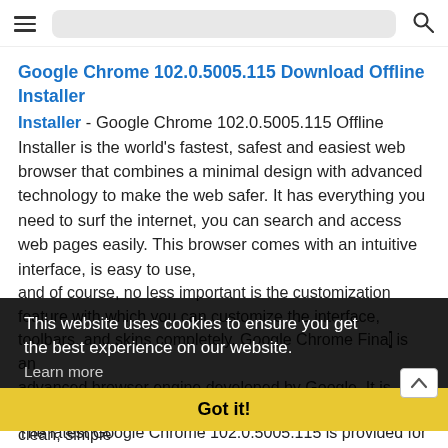≡  [search bar]  🔍
Google Chrome 102.0.5005.115 Download Offline Installer
- Google Chrome 102.0.5005.115 Offline Installer is the world's fastest, safest and easiest web browser that combines a minimal design with advanced technology to make the web safer. It has everything you need to surf the internet, you can search and access web pages easily. This browser comes with an intuitive interface, is easy to use, and of course, no less important is the customization feature with which you can customize the interface, toolbars, and skins completely. Google Chrome Final is an advanced browser engine developed by Google. It is designed with stability, speed, security, and a clean, simple and efficient user interface in mind.
This website uses cookies to ensure you get the best experience on our website.
Learn more
Got it!
The latest Google Chrome 102.0.5005.115 is provided for